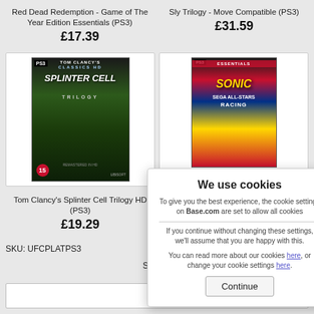Red Dead Redemption - Game of The Year Edition Essentials (PS3)
£17.39
Sly Trilogy - Move Compatible (PS3)
£31.59
[Figure (photo): Tom Clancy's Splinter Cell Trilogy HD PS3 game case - Classics HD edition, rated 15, Remastered in HD]
[Figure (photo): Sonic & Sega All-Stars Racing PS3 Essentials game case]
Tom Clancy's Splinter Cell Trilogy HD (PS3)
£19.29
SKU: UFCPLATPS3
Sign up
We use cookies
To give you the best experience, the cookie settings on Base.com are set to allow all cookies
If you continue without changing these settings, we'll assume that you are happy with this.
You can read more about our cookies here, or change your cookie settings here.
Continue